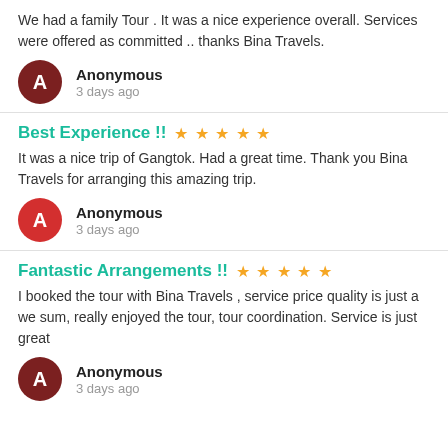We had a family Tour . It was a nice experience overall. Services were offered as committed .. thanks Bina Travels.
Anonymous
3 days ago
Best Experience !! ★★★★★
It was a nice trip of Gangtok. Had a great time. Thank you Bina Travels for arranging this amazing trip.
Anonymous
3 days ago
Fantastic Arrangements !! ★★★★★
I booked the tour with Bina Travels , service price quality is just a we sum, really enjoyed the tour, tour coordination. Service is just great
Anonymous
3 days ago